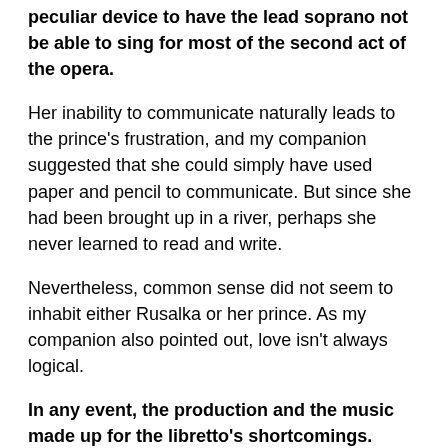peculiar device to have the lead soprano not be able to sing for most of the second act of the opera.
Her inability to communicate naturally leads to the prince's frustration, and my companion suggested that she could simply have used paper and pencil to communicate. But since she had been brought up in a river, perhaps she never learned to read and write.
Nevertheless, common sense did not seem to inhabit either Rusalka or her prince. As my companion also pointed out, love isn't always logical.
In any event, the production and the music made up for the libretto's shortcomings.
The set featured beautiful projections, from the Minnesota Opera, of forest, water and woodlands